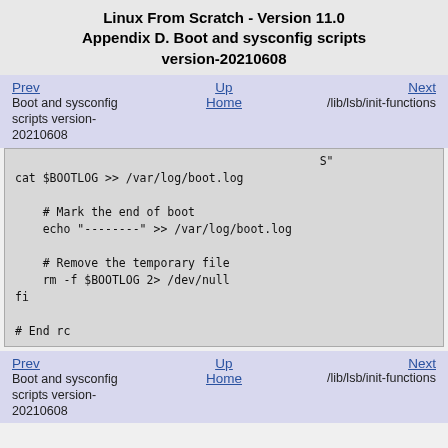Linux From Scratch - Version 11.0
Appendix D. Boot and sysconfig scripts version-20210608
Prev | Up | Next | Home | Boot and sysconfig scripts version-20210608 | /lib/lsb/init-functions
cat $BOOTLOG >> /var/log/boot.log

    # Mark the end of boot
    echo "--------" >> /var/log/boot.log

    # Remove the temporary file
    rm -f $BOOTLOG 2> /dev/null
fi

# End rc
Prev | Up | Next | Home | Boot and sysconfig scripts version-20210608 | /lib/lsb/init-functions